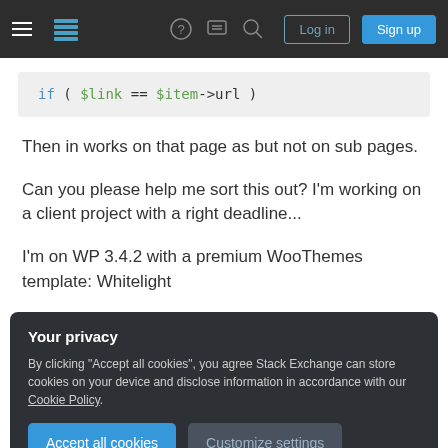[Figure (screenshot): Stack Exchange navigation bar with hamburger menu, logo, help icon, chat icon, search icon, Log in button, and Sign up button on dark background]
[Figure (screenshot): Code block showing: if ( $link == $item->url ) on light grey background]
Then in works on that page as but not on sub pages.
Can you please help me sort this out? I'm working on a client project with a right deadline...
I'm on WP 3.4.2 with a premium WooThemes template: Whitelight
Your privacy
By clicking "Accept all cookies", you agree Stack Exchange can store cookies on your device and disclose information in accordance with our Cookie Policy.
Follow